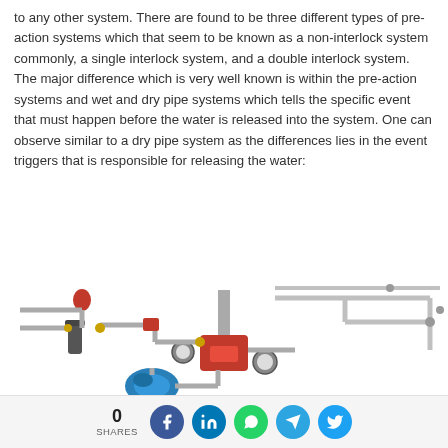to any other system. There are found to be three different types of pre-action systems which that seem to be known as a non-interlock system commonly, a single interlock system, and a double interlock system. The major difference which is very well known is within the pre-action systems and wet and dry pipe systems which tells the specific event that must happen before the water is released into the system. One can observe similar to a dry pipe system as the differences lies in the event triggers that is responsible for releasing the water:
[Figure (engineering-diagram): 3D illustration of a pre-action fire sprinkler system showing pipes, valves, gauges, a red pre-action valve assembly, blue pump unit, filter, and sprinkler pipe network branching across the top.]
0 SHARES [Facebook] [LinkedIn] [WhatsApp] [Telegram] [Twitter]